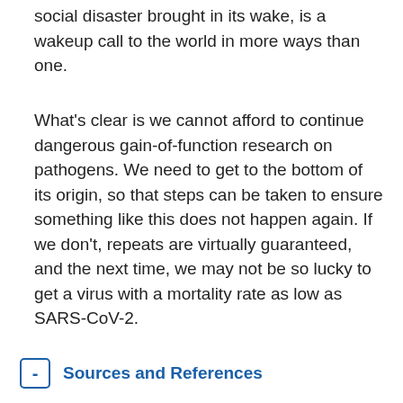social disaster brought in its wake, is a wakeup call to the world in more ways than one.
What's clear is we cannot afford to continue dangerous gain-of-function research on pathogens. We need to get to the bottom of its origin, so that steps can be taken to ensure something like this does not happen again. If we don't, repeats are virtually guaranteed, and the next time, we may not be so lucky to get a virus with a mortality rate as low as SARS-CoV-2.
- Sources and References